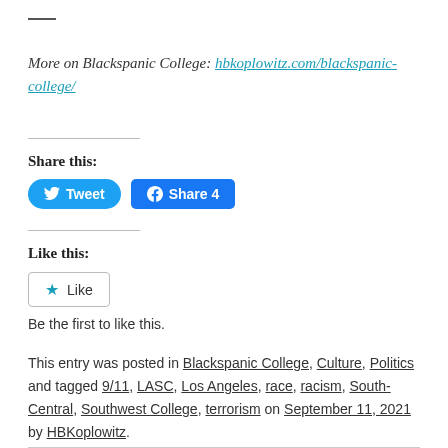More on Blackspanic College: hbkoplowitz.com/blackspanic-college/
Share this:
[Figure (other): Tweet and Facebook Share buttons]
Like this:
[Figure (other): Like button widget]
Be the first to like this.
This entry was posted in Blackspanic College, Culture, Politics and tagged 9/11, LASC, Los Angeles, race, racism, South-Central, Southwest College, terrorism on September 11, 2021 by HBKoplowitz.